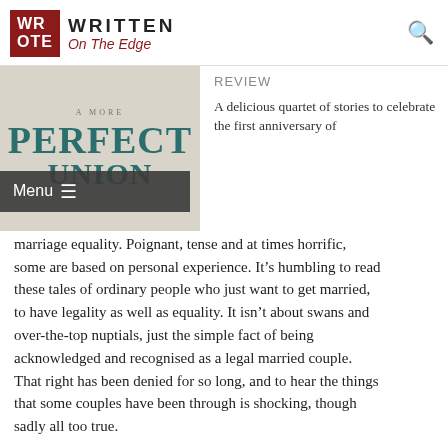WRITTEN On The Edge
[Figure (photo): Book cover showing 'A More Perfect Union' with large teal text for PERFECT UNION on a light grey/ivory background]
REVIEW
A delicious quartet of stories to celebrate the first anniversary of marriage equality. Poignant, tense and at times horrific, some are based on personal experience. It's humbling to read these tales of ordinary people who just want to get married, to have legality as well as equality. It isn't about swans and over-the-top nuptials, just the simple fact of being acknowledged and recognised as a legal married couple. That right has been denied for so long, and to hear the things that some couples have been through is shocking, though sadly all too true.
Flames – J Scott Coatsworth
What happens when your partner is involved in a terrible